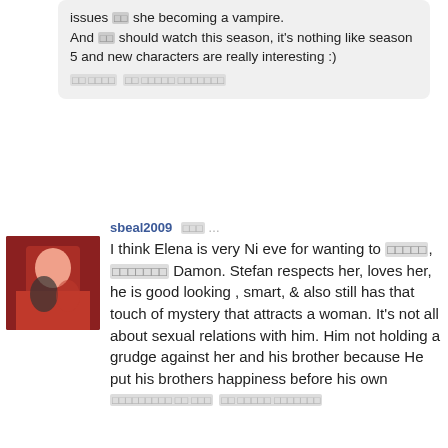issues she becoming a vampire. And you should watch this season, it's nothing like season 5 and new characters are really interesting :)
sbeal2009 commented … I think Elena is very Ni eve for wanting to choose, choosing Damon. Stefan respects her, loves her, he is good looking , smart, & also still has that touch of mystery that attracts a woman. It's not all about sexual relations with him. Him not holding a grudge against her and his brother because He put his brothers happiness before his own
HFU commented on this … ugh
HaleyDewit commented on this … Damon has all of that, and it's not just